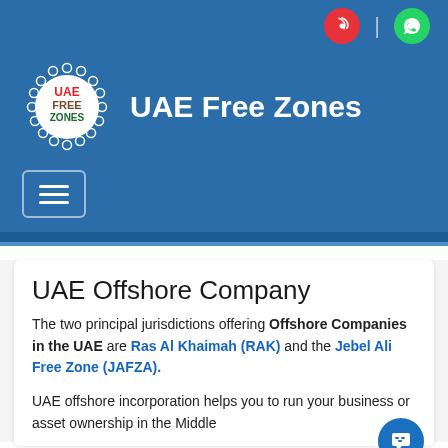[Figure (logo): UAE Free Zones circular logo with rings of small circles around a central badge showing 'UAE FREE ZONES' in colored text]
UAE Free Zones
[Figure (illustration): Hamburger menu button icon (three horizontal lines)]
UAE Offshore Company
The two principal jurisdictions offering Offshore Companies in the UAE are Ras Al Khaimah (RAK) and the Jebel Ali Free Zone (JAFZA).
UAE offshore incorporation helps you to run your business or asset ownership in the Middle